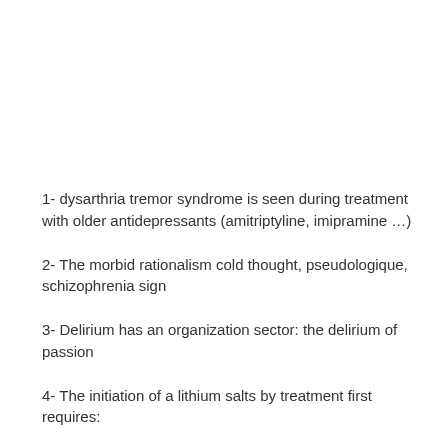1- dysarthria tremor syndrome is seen during treatment with older antidepressants (amitriptyline, imipramine …)
2- The morbid rationalism cold thought, pseudologique, schizophrenia sign
3- Delirium has an organization sector: the delirium of passion
4- The initiation of a lithium salts by treatment first requires: